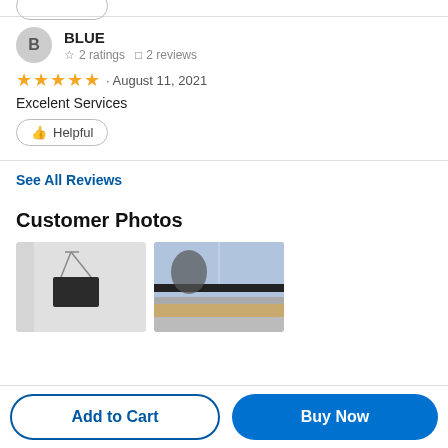BLUE — 2 ratings, 2 reviews
★★★★★ · August 11, 2021
Excelent Services
Helpful
See All Reviews
Customer Photos
[Figure (photo): Two customer photo thumbnails showing interior scenes]
Add to Cart
Buy Now